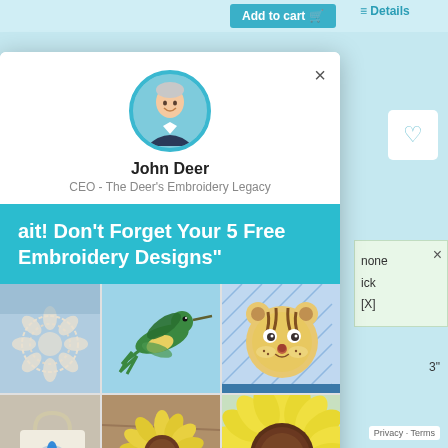[Figure (screenshot): Website screenshot showing a modal popup with John Deer CEO profile, a teal promo banner reading 'Wait! Don't Forget Your 5 Free Embroidery Designs', and a collage of embroidery images including a hummingbird, tiger applique, lace flower, tote bag, and sunflower.]
John Deer
CEO - The Deer's Embroidery Legacy
Wait! Don't Forget Your 5 Free Embroidery Designs"